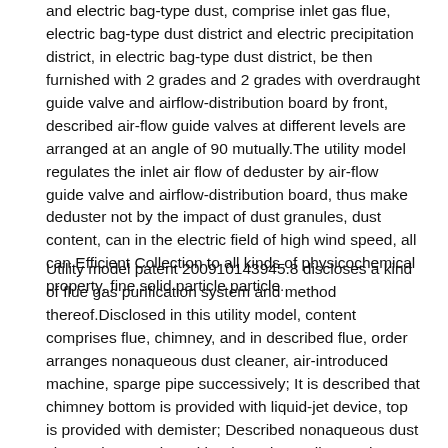and electric bag-type dust, comprise inlet gas flue, electric bag-type dust district and electric precipitation district, in electric bag-type dust district, be then furnished with 2 grades and 2 grades with overdraught guide valve and airflow-distribution board by front, described air-flow guide valves at different levels are arranged at an angle of 90 mutually.The utility model regulates the inlet air flow of deduster by air-flow guide valve and airflow-distribution board, thus make deduster not by the impact of dust granules, dust content, can in the electric field of high wind speed, all can Efficient Collection to all kinds of physicochemical property, fine solid particle particle.
Utility model patent 200910143945.8 discloses a kind of flue gas purification system and method thereof.Disclosed in this utility model, content comprises flue, chimney, and in described flue, order arranges nonaqueous dust cleaner, air-introduced machine, sparge pipe successively; It is described that chimney bottom is provided with liquid-jet device, top is provided with demister; Described nonaqueous dust cleaner is ceramic multicyclone dust collector.The method of gas cleaning is that flue gas is carried out dry method dust in flue, then carries out wet